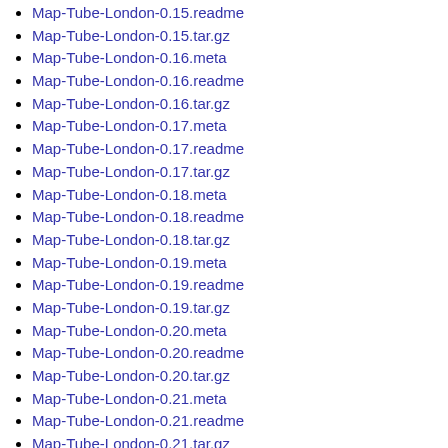Map-Tube-London-0.15.readme
Map-Tube-London-0.15.tar.gz
Map-Tube-London-0.16.meta
Map-Tube-London-0.16.readme
Map-Tube-London-0.16.tar.gz
Map-Tube-London-0.17.meta
Map-Tube-London-0.17.readme
Map-Tube-London-0.17.tar.gz
Map-Tube-London-0.18.meta
Map-Tube-London-0.18.readme
Map-Tube-London-0.18.tar.gz
Map-Tube-London-0.19.meta
Map-Tube-London-0.19.readme
Map-Tube-London-0.19.tar.gz
Map-Tube-London-0.20.meta
Map-Tube-London-0.20.readme
Map-Tube-London-0.20.tar.gz
Map-Tube-London-0.21.meta
Map-Tube-London-0.21.readme
Map-Tube-London-0.21.tar.gz
Map-Tube-London-0.22.meta
Map-Tube-London-0.22.readme
Map-Tube-London-0.22.tar.gz
Map-Tube-London-0.23.meta
Map-Tube-London-0.23.readme